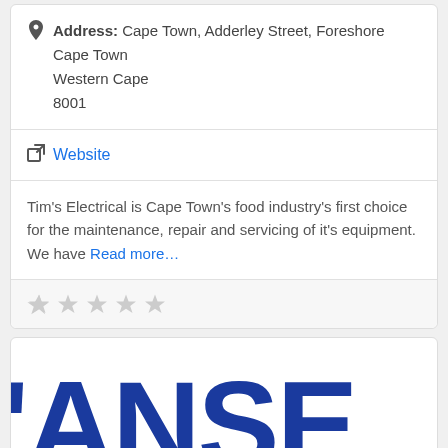Address: Cape Town, Adderley Street, Foreshore Cape Town Western Cape 8001
Website
Tim's Electrical is Cape Town's food industry's first choice for the maintenance, repair and servicing of it's equipment. We have Read more...
[Figure (other): Five empty/grey star rating icons]
[Figure (logo): Partial blue logo text reading 'ANSE' or similar, large bold letters cropped at edges]